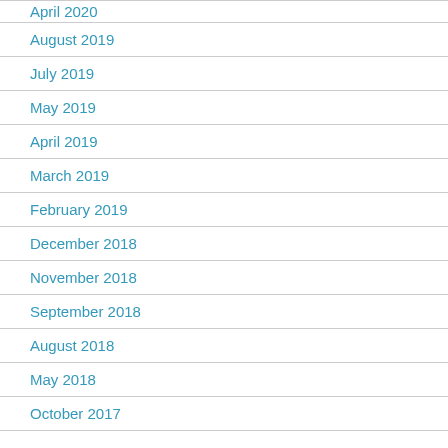April 2020
August 2019
July 2019
May 2019
April 2019
March 2019
February 2019
December 2018
November 2018
September 2018
August 2018
May 2018
October 2017